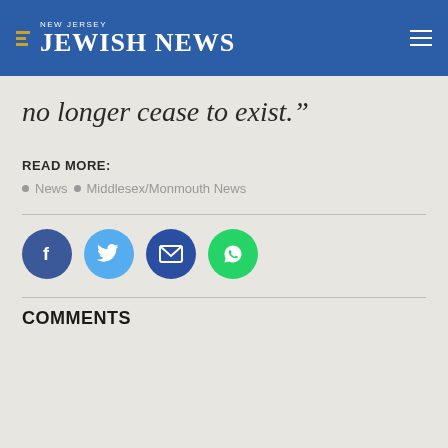NEW JERSEY JEWISH NEWS
no longer cease to exist.”
READ MORE:
News
Middlesex/Monmouth News
[Figure (other): Social sharing icons: Facebook, Twitter, Email, WhatsApp]
COMMENTS